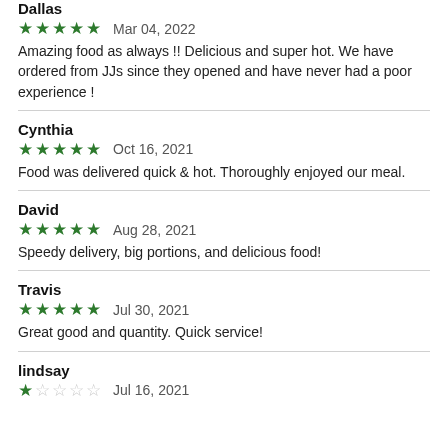Dallas
★★★★★ Mar 04, 2022
Amazing food as always !! Delicious and super hot. We have ordered from JJs since they opened and have never had a poor experience !
Cynthia
★★★★★ Oct 16, 2021
Food was delivered quick & hot. Thoroughly enjoyed our meal.
David
★★★★★ Aug 28, 2021
Speedy delivery, big portions, and delicious food!
Travis
★★★★★ Jul 30, 2021
Great good and quantity. Quick service!
lindsay
★☆☆☆☆ Jul 16, 2021